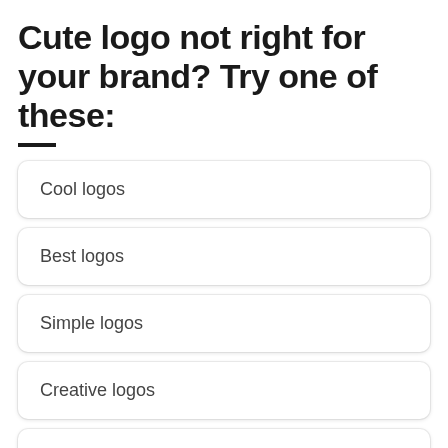Cute logo not right for your brand? Try one of these:
Cool logos
Best logos
Simple logos
Creative logos
Beautiful logos